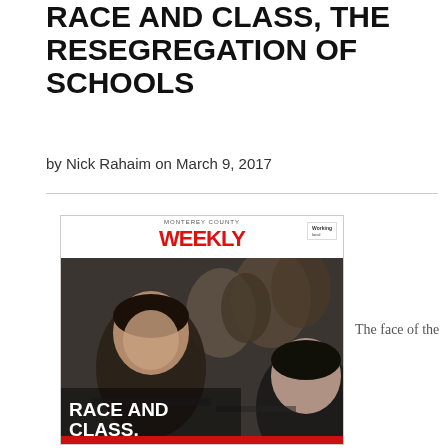MONTEREY COUNTY WEEKLY: RACE AND CLASS, THE RESEGREGATION OF SCHOOLS
by Nick Rahaim on March 9, 2017
[Figure (photo): Cover of Monterey County Weekly magazine featuring a photo of students in a classroom. The cover reads 'RACE AND CLASS' in large white text, with subtitle about public school demographics changing in Monterey County.]
The face of the